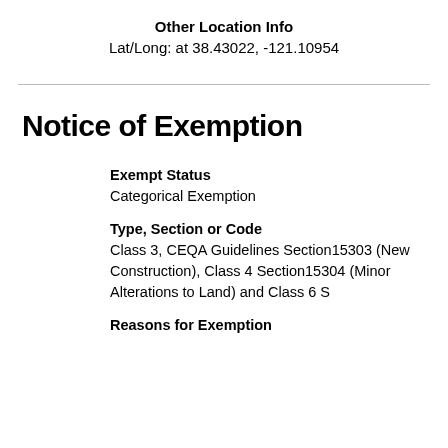Other Location Info
Lat/Long: at 38.43022, -121.10954
Notice of Exemption
Exempt Status
Categorical Exemption
Type, Section or Code
Class 3, CEQA Guidelines Section15303 (New Construction), Class 4 Section15304 (Minor Alterations to Land) and Class 6 S
Reasons for Exemption